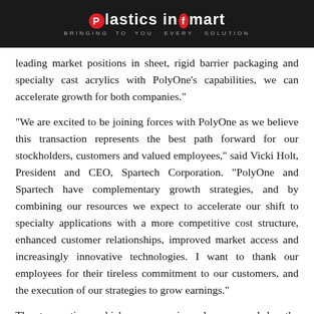Plastics Infomart
leading market positions in sheet, rigid barrier packaging and specialty cast acrylics with PolyOne’s capabilities, we can accelerate growth for both companies.”
“We are excited to be joining forces with PolyOne as we believe this transaction represents the best path forward for our stockholders, customers and valued employees,” said Vicki Holt, President and CEO, Spartech Corporation. “PolyOne and Spartech have complementary growth strategies, and by combining our resources we expect to accelerate our shift to specialty applications with a more competitive cost structure, enhanced customer relationships, improved market access and increasingly innovative technologies. I want to thank our employees for their tireless commitment to our customers, and the execution of our strategies to grow earnings.”
The transaction, which was unanimously approved by the Boards of Directors of both companies, remains subject to